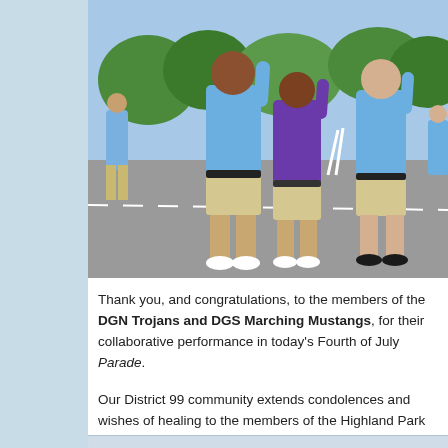[Figure (photo): Students in blue and purple polo shirts with khaki shorts saluting during a parade on a street, trees visible in background]
Thank you, and congratulations, to the members of the DGN Trojans and DGS Marching Mustangs, for their collaborative performance in today's Fourth of July Parade.
Our District 99 community extends condolences and wishes of healing to the members of the Highland Park High School Marching Band, the families, and all impacted by senseless gun violence.